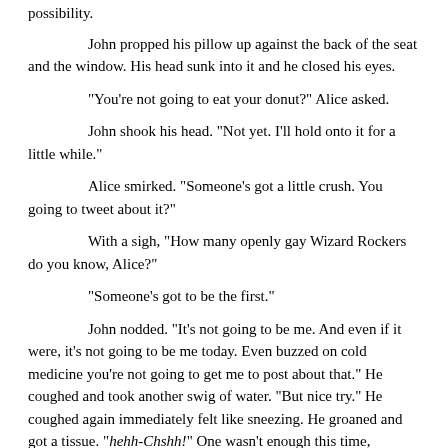possibility.
John propped his pillow up against the back of the seat and the window. His head sunk into it and he closed his eyes.
“You're not going to eat your donut?” Alice asked.
John shook his head. “Not yet. I’ll hold onto it for a little while.”
Alice smirked. “Someone’s got a little crush. You going to tweet about it?”
With a sigh, “How many openly gay Wizard Rockers do you know, Alice?”
“Someone’s got to be the first.”
John nodded. “It’s not going to be me. And even if it were, it’s not going to be me today. Even buzzed on cold medicine you’re not going to get me to post about that.” He coughed and took another swig of water. “But nice try.” He coughed again immediately felt like sneezing. He groaned and got a tissue. “ehh-Chshh!” One wasn’t enough this time, however. “Chishhh! Ketchhh!” He sucked in another breath, waiting and hoping, When